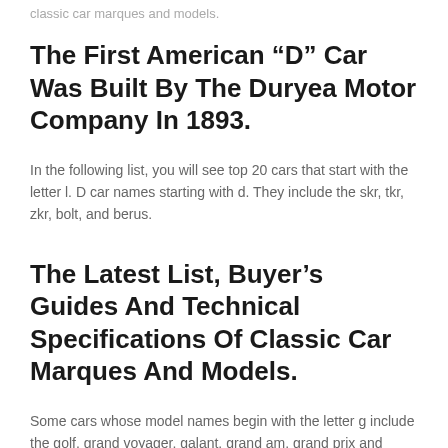classic car marques and models.
The First American “D” Car Was Built By The Duryea Motor Company In 1893.
In the following list, you will see top 20 cars that start with the letter l. D car names starting with d. They include the skr, tkr, zkr, bolt, and berus.
The Latest List, Buyer’s Guides And Technical Specifications Of Classic Car Marques And Models.
Some cars whose model names begin with the letter g include the golf, grand voyager, galant, grand am, grand prix and